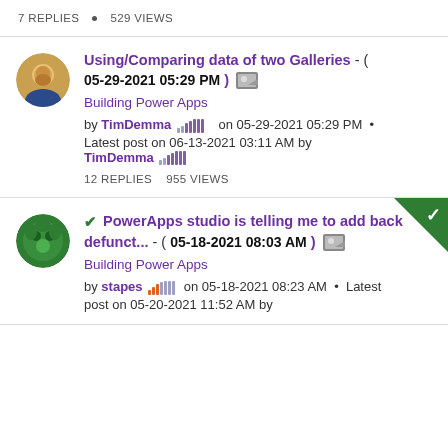7 REPLIES • 529 VIEWS
Using/Comparing data of two Galleries - ( 05-29-2021 05:29 PM )
Building Power Apps
by TimDemma on 05-29-2021 05:29 PM • Latest post on 06-13-2021 03:11 AM by TimDemma
12 REPLIES • 955 VIEWS
✔ PowerApps studio is telling me to add back defunct... - ( 05-18-2021 08:03 AM )
Building Power Apps
by stapes on 05-18-2021 08:23 AM • Latest post on 05-20-2021 11:52 AM by